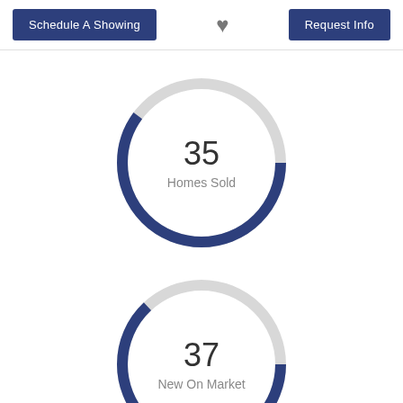Schedule A Showing | [heart] | Request Info
[Figure (donut-chart): Homes Sold]
[Figure (donut-chart): New On Market]